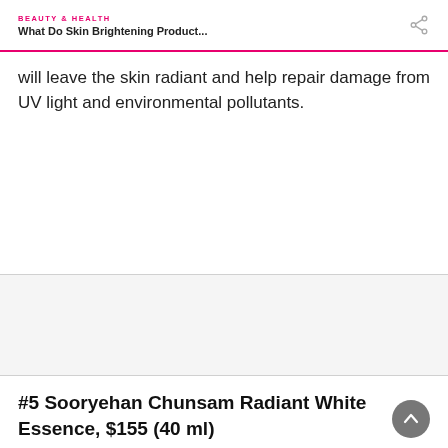BEAUTY & HEALTH
What Do Skin Brightening Product...
will leave the skin radiant and help repair damage from UV light and environmental pollutants.
SHOP NOW
[Figure (other): Gray placeholder section for an image]
#5 Sooryehan Chunsam Radiant White Essence, $155 (40 ml)